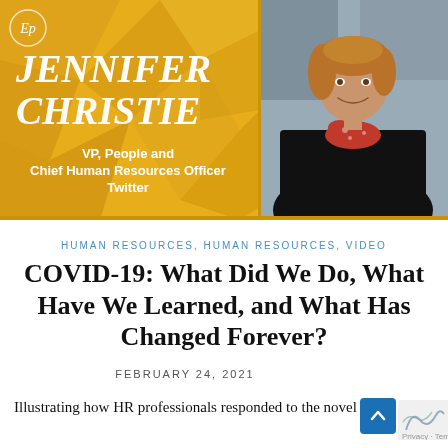[Figure (photo): Banner with gold geometric background showing Jennifer Christie, VP People and Chief Human Resources Officer at Twitter. Left side has name in large italic bold white text and title below. Right side has a professional photo of a woman with short brown hair wearing a black turtleneck and red floral scarf, arms crossed, smiling.]
HUMAN RESOURCES, HUMAN RESOURCES, VIDEO
COVID-19: What Did We Do, What Have We Learned, and What Has Changed Forever?
FEBRUARY 24, 2021
Illustrating how HR professionals responded to the novel